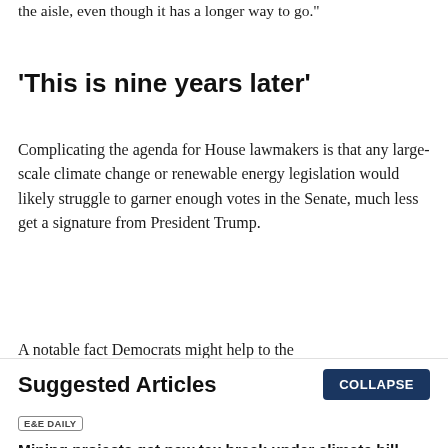the aisle, even though it has a longer way to go."
‘This is nine years later’
Complicating the agenda for House lawmakers is that any large-scale climate change or renewable energy legislation would likely struggle to garner enough votes in the Senate, much less get a signature from President Trump.
A notable fact Democrats might help to the
Suggested Articles
COLLAPSE
E&E DAILY
Mining projects get new tax break under climate bill
BY Jael Holman | 08/15/2022 06:16 AM EDT
Read More >>
E&E DAILY
‘A lot more to do’: Lawmakers eye additional climate action